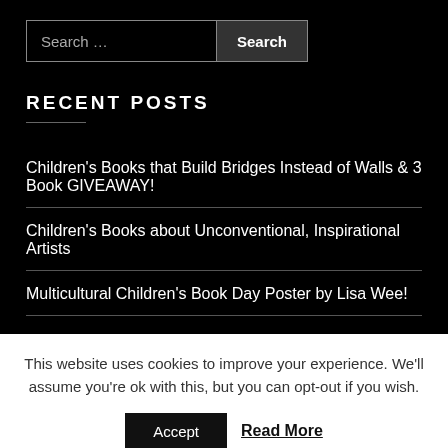[Figure (screenshot): Search bar with text input 'Search …' and a 'Search' button]
RECENT POSTS
Children's Books that Build Bridges Instead of Walls & 3 Book GIVEAWAY!
Children's Books about Unconventional, Inspirational Artists
Multicultural Children's Book Day Poster by Lisa Wee!
This website uses cookies to improve your experience. We'll assume you're ok with this, but you can opt-out if you wish.
Accept   Read More